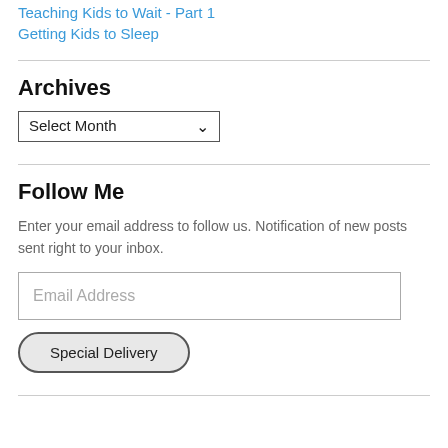Teaching Kids to Wait - Part 1
Getting Kids to Sleep
Archives
Select Month
Follow Me
Enter your email address to follow us. Notification of new posts sent right to your inbox.
Email Address
Special Delivery